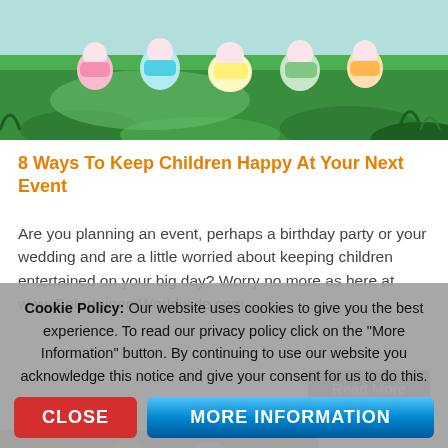[Figure (photo): Children lying on grass outdoors, smiling, with green grass background]
8 Ways To Keep Children Happy At Your Next Event
Are you planning an event, perhaps a birthday party or your wedding and are a little worried about keeping children entertained on your big day? Worry no more as here at www.EntertainersWorldwide.com ...
Read More
[Figure (photo): Group of adults outdoors, smiling, partial view at bottom of page]
Cookie Policy: Our website uses cookies to give you the best experience. To read our privacy policy click on the "More Information" button. By continuing to use our website you acknowledge this notice and give your consent for us to do this.
CLOSE
MORE INFORMATION